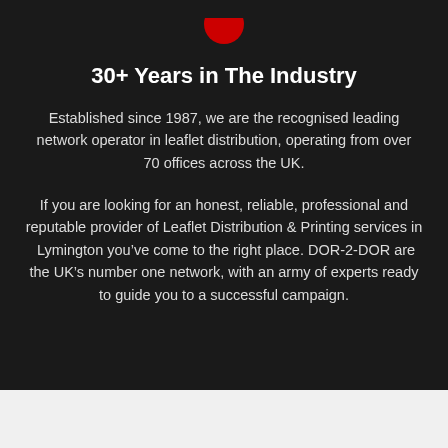[Figure (logo): Partial red circular logo at top of dark section]
30+ Years in The Industry
Established since 1987, we are the recognised leading network operator in leaflet distribution, operating from over 70 offices across the UK.
If you are looking for an honest, reliable, professional and reputable provider of Leaflet Distribution & Printing services in  Lymington you’ve come to the right place. DOR-2-DOR are the UK’s number one network, with an army of experts ready to guide you to a successful campaign.